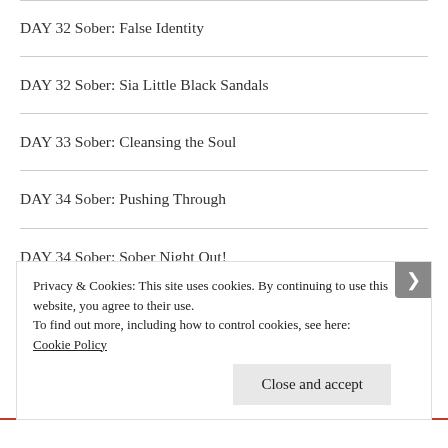DAY 32 Sober: False Identity
DAY 32 Sober: Sia Little Black Sandals
DAY 33 Sober: Cleansing the Soul
DAY 34 Sober: Pushing Through
DAY 34 Sober: Sober Night Out!
DAY 342 Sober: A sensitive person
Privacy & Cookies: This site uses cookies. By continuing to use this website, you agree to their use.
To find out more, including how to control cookies, see here: Cookie Policy
Close and accept